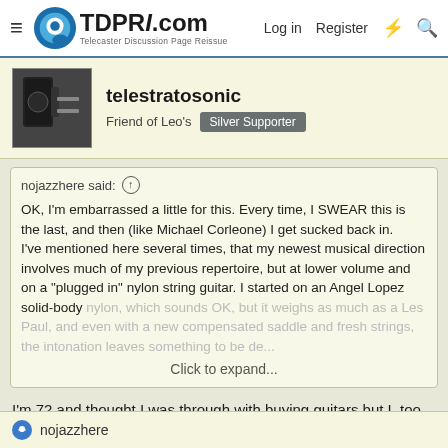TDPRI.com Telecaster Discussion Page Reissue — Log in  Register
telestratosonic
Friend of Leo's  Silver Supporter
nojazzhere said: ↑

OK, I'm embarrassed a little for this. Every time, I SWEAR this is the last, and then (like Michael Corleone) I get sucked back in.
I've mentioned here several times, that my newest musical direction involves much of my previous repertoire, but at lower volume and on a "plugged in" nylon string guitar. I started on an Angel Lopez solid-body nylon, which sounds OK, but it weighs as much as a Les Paul, and even with a new compensated saddle and fresh strings, the intonation leaves something to be de...

Click to expand...
I'm 72 and thought I was through with buying guitars but I, too, have been giving thought to buying a good-quality nylon-stringed acoustic-electric. The Godin guitars are on my radar, especially one like you have. Nice!
nojazzhere